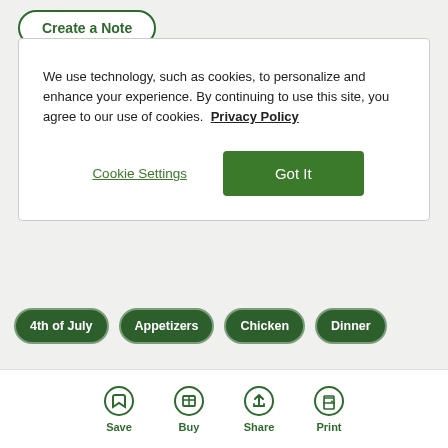Create a Note
We use technology, such as cookies, to personalize and enhance your experience. By continuing to use this site, you agree to our use of cookies. Privacy Policy
Cookie Settings
Got It
4th of July
Appetizers
Chicken
Dinner
Similar Recipes
Save  Buy  Share  Print